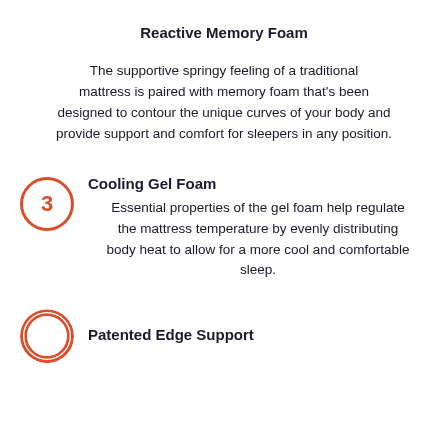Reactive Memory Foam
The supportive springy feeling of a traditional mattress is paired with memory foam that's been designed to contour the unique curves of your body and provide support and comfort for sleepers in any position.
Cooling Gel Foam
Essential properties of the gel foam help regulate the mattress temperature by evenly distributing body heat to allow for a more cool and comfortable sleep.
Patented Edge Support